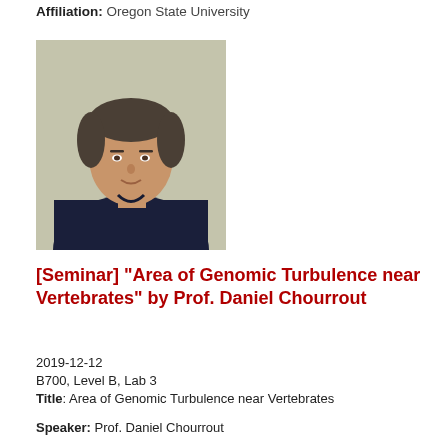Affiliation: Oregon State University
[Figure (photo): Portrait photo of Prof. Daniel Chourrout, a middle-aged man with short grey-brown hair wearing a dark navy polo shirt, photographed against a stone/concrete wall background.]
[Seminar] "Area of Genomic Turbulence near Vertebrates" by Prof. Daniel Chourrout
2019-12-12
B700, Level B, Lab 3
Title: Area of Genomic Turbulence near Vertebrates
Speaker: Prof. Daniel Chourrout